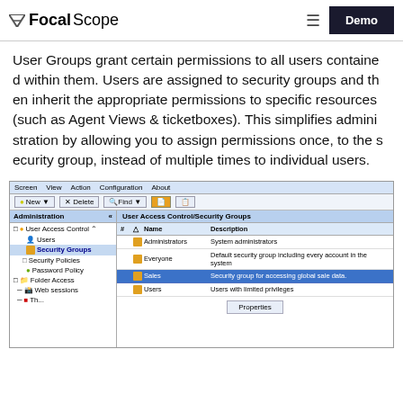FocalScope — Demo
User Groups grant certain permissions to all users contained within them. Users are assigned to security groups and then inherit the appropriate permissions to specific resources (such as Agent Views & ticketboxes). This simplifies administration by allowing you to assign permissions once, to the security group, instead of multiple times to individual users.
[Figure (screenshot): FocalScope application screenshot showing the Administration panel with User Access Control tree on the left (Users, Security Groups, Security Policies, Password Policy, Folder Access, Web sessions) and User Access Control/Security Groups table on the right listing: Administrators (System administrators), Everyone (Default security group including every account in the system), Sales (Security group for accessing global sale data.) highlighted in blue, Users (Users with limited privileges). Menu bar: Screen, View, Action, Configuration, About. Toolbar: New, Delete, Find buttons.]